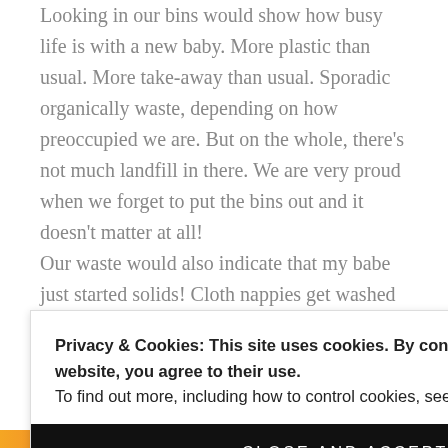Looking in our bins would show how busy life is with a new baby. More plastic than usual. More take-away than usual. Sporadic organically waste, depending on how preoccupied we are. But on the whole, there's not much landfill in there. We are very proud when we forget to put the bins out and it doesn't matter at all! Our waste would also indicate that my babe just started solids! Cloth nappies get washed
Privacy & Cookies: This site uses cookies. By continuing to use this website, you agree to their use.
To find out more, including how to control cookies, see here: Cookie Policy
CLOSE AND ACCEPT